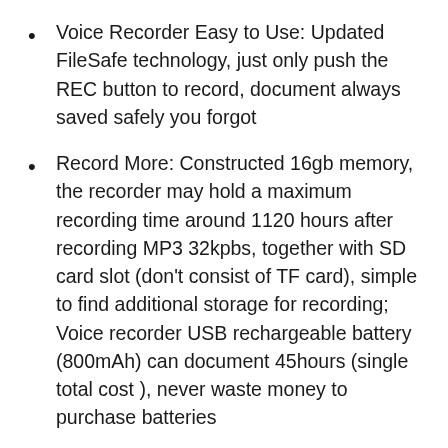Voice Recorder Easy to Use: Updated FileSafe technology, just only push the REC button to record, document always saved safely you forgot
Record More: Constructed 16gb memory, the recorder may hold a maximum recording time around 1120 hours after recording MP3 32kpbs, together with SD card slot (don’t consist of TF card), simple to find additional storage for recording; Voice recorder USB rechargeable battery (800mAh) can document 45hours (single total cost ), never waste money to purchase batteries
7. Izotope Spire Studio Portable